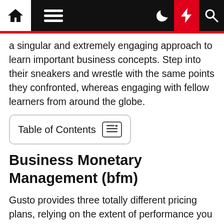Navigation bar with home, menu, dark mode, lightning/bolt, and search icons
a singular and extremely engaging approach to learn important business concepts. Step into their sneakers and wrestle with the same points they confronted, whereas engaging with fellow learners from around the globe.
Table of Contents
Business Monetary Management (bfm)
Gusto provides three totally different pricing plans, relying on the extent of performance you need. The Core plan is the company's most simple plan, and it covers features like payroll, advantages and unlimited customer help.